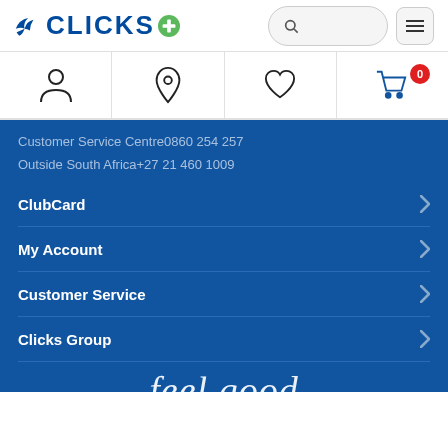[Figure (logo): Clicks logo with blue text CLICKS, bird icon on left, green plus icon on right, search bar and hamburger menu on top right]
[Figure (infographic): Navigation icon bar with person/account icon, location pin icon, heart/wishlist icon, and shopping cart icon with red badge showing 0]
Customer Service Centre0860 254 257
Outside South Africa+27 21 460 1009
ClubCard
My Account
Customer Service
Clicks Group
feel good